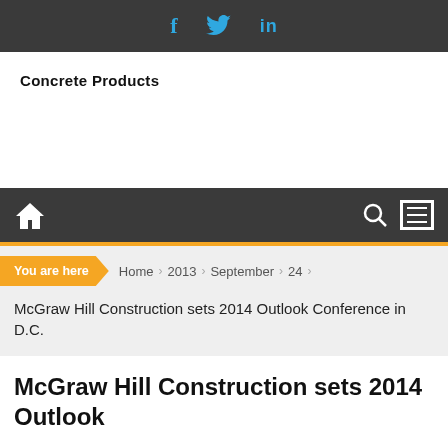f  twitter  in
[Figure (logo): Concrete Products logo text in bold black font]
Home navigation bar with search and menu icons
You are here  Home  2013  September  24  McGraw Hill Construction sets 2014 Outlook Conference in D.C.
McGraw Hill Construction sets 2014 Outlook